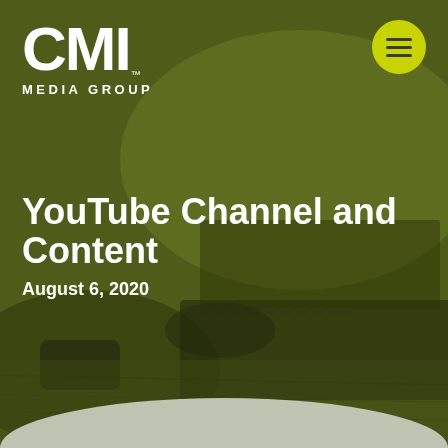[Figure (logo): CMI Media Group logo in white on olive-green background with laptop/desk photo]
YouTube Channel and Content
August 6, 2020